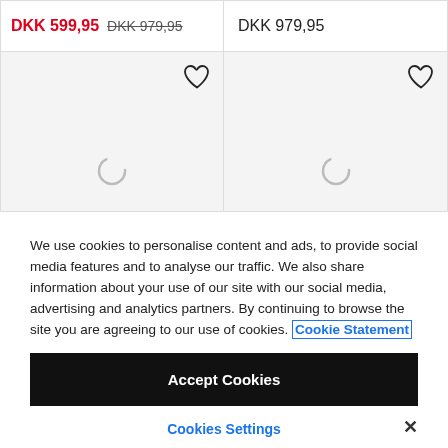DKK 599,95  DKK 979,95
DKK 979,95
[Figure (illustration): Two product image placeholder cells with heart (wishlist) icons and loading spinner icons, on a light grey background]
We use cookies to personalise content and ads, to provide social media features and to analyse our traffic. We also share information about your use of our site with our social media, advertising and analytics partners. By continuing to browse the site you are agreeing to our use of cookies. Cookie Statement
Accept Cookies
Cookies Settings